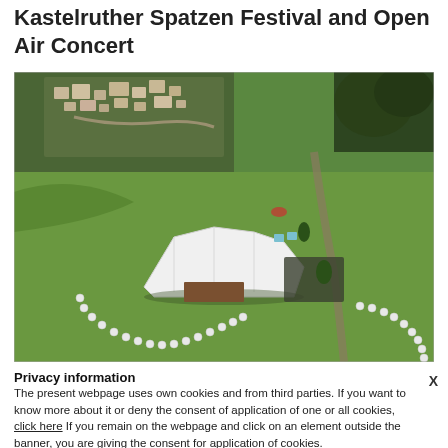Kastelruther Spatzen Festival and Open Air Concert
[Figure (photo): Aerial view of the Kastelruther Spatzen Festival venue showing a large white tent/hall structure surrounded by green alpine meadows, with a village in the background and rows of white caravans/campers arranged in curved lines around the venue.]
Privacy information
The present webpage uses own cookies and from third parties. If you want to know more about it or deny the consent of application of one or all cookies, click here If you remain on the webpage and click on an element outside the banner, you are giving the consent for application of cookies.